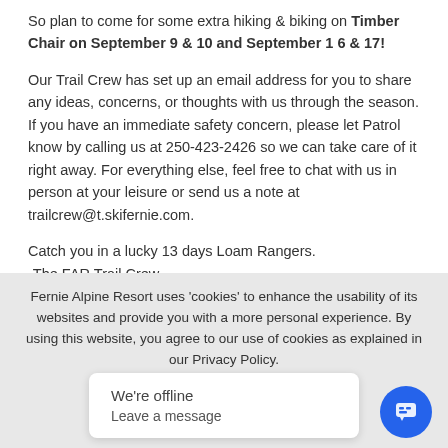So plan to come for some extra hiking & biking on Timber Chair on September 9 & 10 and September 1 6 & 17!
Our Trail Crew has set up an email address for you to share any ideas, concerns, or thoughts with us through the season. If you have an immediate safety concern, please let Patrol know by calling us at 250-423-2426 so we can take care of it right away. For everything else, feel free to chat with us in person at your leisure or send us a note at trailcrew@t.skifernie.com.
Catch you in a lucky 13 days Loam Rangers.
-The FAR Trail Crew
Fernie Alpine Resort uses 'cookies' to enhance the usability of its websites and provide you with a more personal experience. By using this website, you agree to our use of cookies as explained in our Privacy Policy.
We're offline
Leave a message